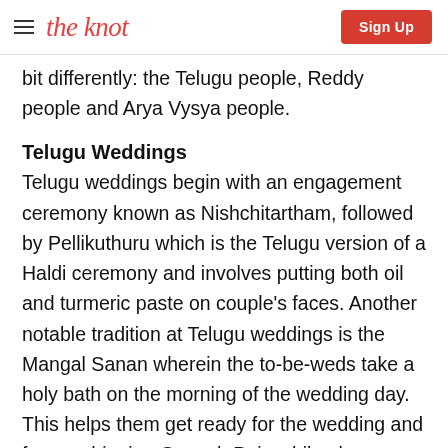the knot | Sign Up
bit differently: the Telugu people, Reddy people and Arya Vysya people.
Telugu Weddings
Telugu weddings begin with an engagement ceremony known as Nishchitartham, followed by Pellikuthuru which is the Telugu version of a Haldi ceremony and involves putting both oil and turmeric paste on couple's faces. Another notable tradition at Telugu weddings is the Mangal Sanan wherein the to-be-weds take a holy bath on the morning of the wedding day. This helps them get ready for the wedding and for worshipping Ganesh Puja while also